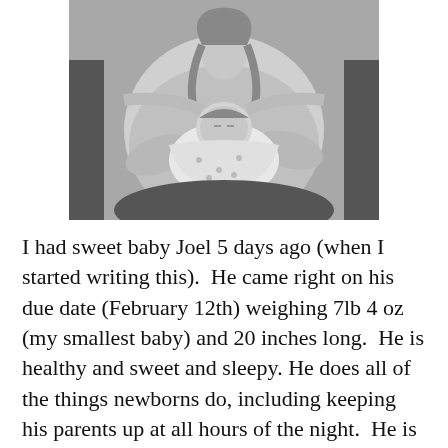[Figure (photo): Black and white photograph of a mother sitting and holding a swaddled newborn baby close to her chest.]
I had sweet baby Joel 5 days ago (when I started writing this).  He came right on his due date (February 12th) weighing 7lb 4 oz (my smallest baby) and 20 inches long.  He is healthy and sweet and sleepy. He does all of the things newborns do, including keeping his parents up at all hours of the night.  He is a sweet addition to our family.  We are all adjusting to the